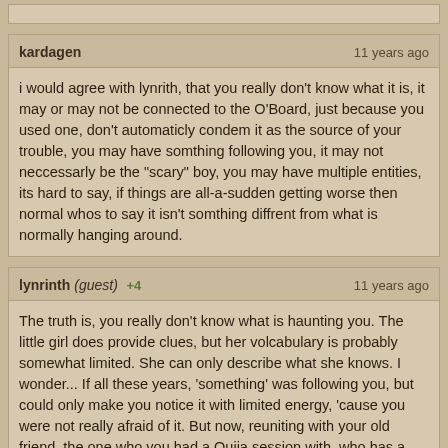kardagen · 11 years ago
i would agree with lynrith, that you really don't know what it is, it may or may not be connected to the O'Board, just because you used one, don't automaticly condem it as the source of your trouble, you may have somthing following you, it may not neccessarly be the "scary" boy, you may have multiple entities, its hard to say, if things are all-a-sudden getting worse then normal whos to say it isn't somthing diffrent from what is normally hanging around.
lynrinth (guest) +4 · 11 years ago
The truth is, you really don't know what is haunting you. The little girl does provide clues, but her volcabulary is probably somewhat limited. She can only describe what she knows. I wonder... If all these years, 'something' was following you, but could only make you notice it with limited energy, 'cause you were not really afraid of it. But now, reuniting with your old friend, the one who you had a Ouija session with, who has a young child, it has found a way to harness the energy from all of you because now you are afraid! Because the little girl can